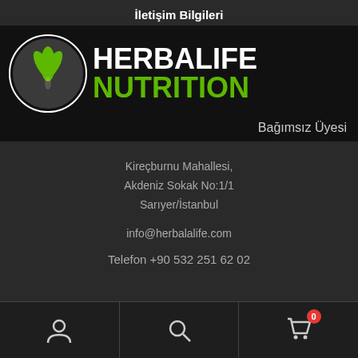İletişim Bilgileri
[Figure (logo): Herbalife Nutrition logo with green leaf emblem and text HERBALIFE NUTRITION]
Bağımsız Üyesi
Kireçburnu Mahallesi,
Akdeniz Sokak No:1/1
Sarıyer/İstanbul
info@herbalalife.com
Telefon +90 532 251 62 02
[Figure (screenshot): Bottom navigation bar with user icon, search icon, and cart icon with badge showing 0]